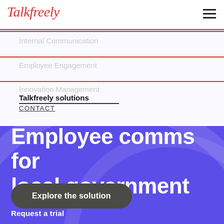Talkfreely
Internal Communication
Employee Engagement
Innovation Management
Talkfreely solutions
CONTACT
Employee comms for local government
Explore the solution
Request a trial